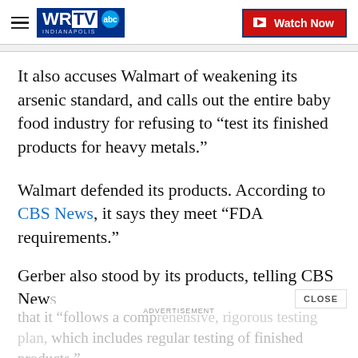WRTV INDIANAPOLIS | Watch Now
It also accuses Walmart of weakening its arsenic standard, and calls out the entire baby food industry for refusing to “test its finished products for heavy metals.”
Walmart defended its products. According to CBS News, it says they meet “FDA requirements.”
Gerber also stood by its products, telling CBS News that it “follows a comprehensive, rigorous testing plan, which includes regular testing of finished products.”